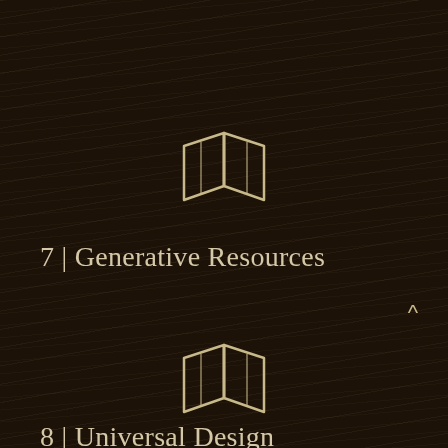[Figure (illustration): Open book / map icon rendered as outline in tan/beige color on dark background, representing section 7]
7 | Generative Resources
[Figure (illustration): Open book / map icon rendered as outline in tan/beige color on dark background, representing section 8]
8 | Universal Design